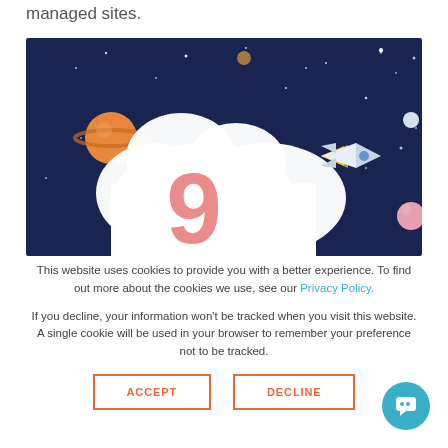managed sites.
[Figure (illustration): Illustration of a space scene with dark navy background, stars, planets (orange with rings, pink), a large white cloud shape with a pink number 9 inside, and a white rocket ship flying to the right with yellow/orange flame exhaust.]
This website uses cookies to provide you with a better experience. To find out more about the cookies we use, see our Privacy Policy.
If you decline, your information won't be tracked when you visit this website. A single cookie will be used in your browser to remember your preference not to be tracked.
ACCEPT
DECLINE